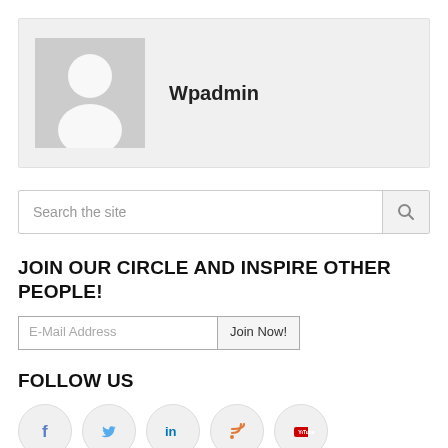[Figure (illustration): User profile card with grey placeholder avatar image on the left and the username 'Wpadmin' in bold on the right, on a light grey background]
[Figure (screenshot): Search bar with placeholder text 'Search the site' and a search icon button on the right]
JOIN OUR CIRCLE AND INSPIRE OTHER PEOPLE!
[Figure (other): Email subscription form with an E-Mail Address input field and a 'Join Now!' button]
FOLLOW US
[Figure (infographic): Row of five social media icon circles: Facebook (f), Twitter (bird), LinkedIn (in), RSS (wifi signal), YouTube (play button)]